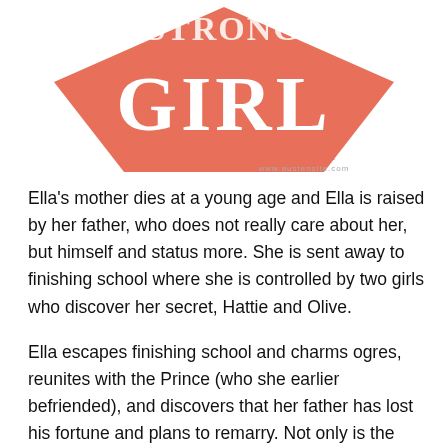[Figure (logo): Stylized book cover logo showing the word 'GIRL' in large salmon/coral letters inside a diamond/fan shape, with 'JANE AUSTEN' written below in smaller text, and a website URL at the bottom. The top of the design shows partial text above GIRL.]
Ella's mother dies at a young age and Ella is raised by her father, who does not really care about her, but himself and status more. She is sent away to finishing school where she is controlled by two girls who discover her secret, Hattie and Olive.
Ella escapes finishing school and charms ogres, reunites with the Prince (who she earlier befriended), and discovers that her father has lost his fortune and plans to remarry. Not only is the horrible woman Mum Olga going to be her stepmother, but her stepsisters are going to be the terrible Hattie and Olive. When they claim...